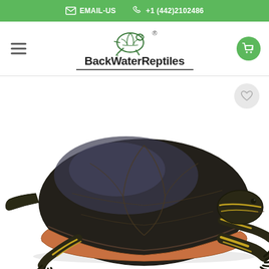✉ EMAIL-US  📞 +1 (442)2102486
[Figure (logo): BackWaterReptiles logo with turtle illustration and brand name]
[Figure (photo): A painted turtle (Western Painted Turtle) photographed on a white background, showing dark shell with yellow striped legs and neck]